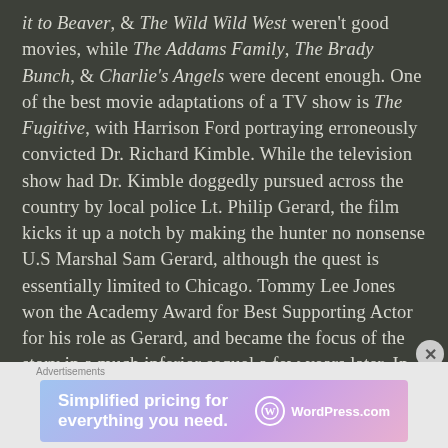it to Beaver, & The Wild Wild West weren't good movies, while The Addams Family, The Brady Bunch, & Charlie's Angels were decent enough. One of the best movie adaptations of a TV show is The Fugitive, with Harrison Ford portraying erroneously convicted Dr. Richard Kimble. While the television show had Dr. Kimble doggedly pursued across the country by local police Lt. Philip Gerard, the film kicks it up a notch by making the hunter no nonsense U.S Marshal Sam Gerard, although the quest is essentially limited to Chicago. Tommy Lee Jones won the Academy Award for Best Supporting Actor for his role as Gerard, and became the focus of the story in a much inferior sequel a few years later. In the movie neither Kimble nor Gerard resemble the television characters they are based on all that
Advertisements
[Figure (other): Advertisement banner for WordPress.com with text 'Simplified pricing for everything you need.' and WordPress.com logo on a blue-purple gradient background]